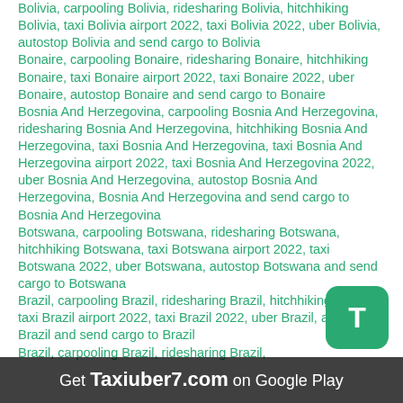Bolivia, carpooling Bolivia, ridesharing Bolivia, hitchhiking Bolivia, taxi Bolivia airport 2022, taxi Bolivia 2022, uber Bolivia, autostop Bolivia and send cargo to Bolivia
Bonaire, carpooling Bonaire, ridesharing Bonaire, hitchhiking Bonaire, taxi Bonaire airport 2022, taxi Bonaire 2022, uber Bonaire, autostop Bonaire and send cargo to Bonaire
Bosnia And Herzegovina, carpooling Bosnia And Herzegovina, ridesharing Bosnia And Herzegovina, hitchhiking Bosnia And Herzegovina, taxi Bosnia And Herzegovina, taxi Bosnia And Herzegovina airport 2022, taxi Bosnia And Herzegovina 2022, uber Bosnia And Herzegovina, autostop Bosnia And Herzegovina, Bosnia And Herzegovina and send cargo to Bosnia And Herzegovina
Botswana, carpooling Botswana, ridesharing Botswana, hitchhiking Botswana, taxi Botswana airport 2022, taxi Botswana 2022, uber Botswana, autostop Botswana and send cargo to Botswana
Brazil, carpooling Brazil, ridesharing Brazil, hitchhiking Brazil, taxi Brazil airport 2022, taxi Brazil 2022, uber Brazil, autostop Brazil and send cargo to Brazil
Brazil, carpooling Brazil, ridesharing Brazil,
[Figure (other): Green rounded rectangle button with white letter T]
Get Taxiuber7.com on Google Play